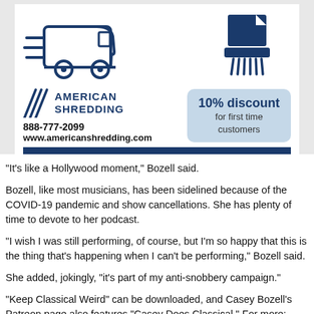[Figure (illustration): American Shredding company advertisement. Features a delivery truck icon and a document shredder icon. Logo with diagonal lines and 'AMERICAN SHREDDING' text. Phone: 888-777-2099. Website: www.americanshredding.com. Discount badge: 10% discount for first time customers. Blue bar at bottom.]
"It's like a Hollywood moment," Bozell said.
Bozell, like most musicians, has been sidelined because of the COVID-19 pandemic and show cancellations. She has plenty of time to devote to her podcast.
"I wish I was still performing, of course, but I'm so happy that this is the thing that's happening when I can't be performing," Bozell said.
She added, jokingly, "it's part of my anti-snobbery campaign."
"Keep Classical Weird" can be downloaded, and Casey Bozell's Patreon page also features "Casey Does Classical." For more: caseybozell.com,